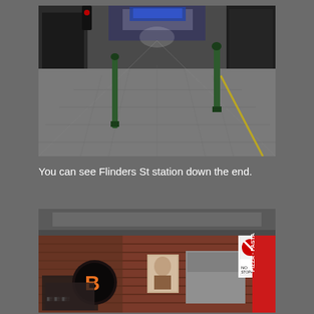[Figure (photo): An empty pedestrian street/laneway in Melbourne CBD, showing paving stones, green bollards, shop fronts on both sides, and Flinders St station visible at the far end. A traffic light is visible at the top.]
You can see Flinders St station down the end.
[Figure (photo): A Melbourne underpass or laneway scene showing brick walls covered in street art and posters, a traffic light/signal, a framed portrait photo on the wall, a no-stopping sign, and a red pizza and pasta restaurant sign partially visible on the right.]